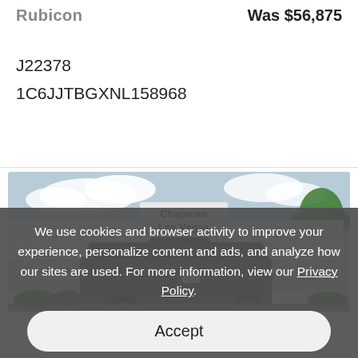Rubicon
Was $56,875
J22378
1C6JJTBGXNL158968
[Figure (photo): Chapman Las Vegas dealership exterior with Chrysler, Dodge, Jeep, and Ram signs. A military-style vehicle is parked in front.]
We use cookies and browser activity to improve your experience, personalize content and ads, and analyze how our sites are used. For more information, view our Privacy Policy.
Accept